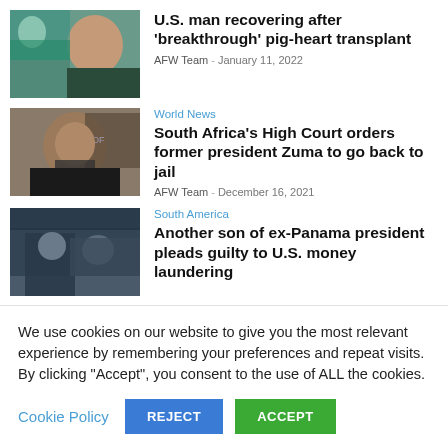[Figure (photo): Medical professional with patient, pig-heart transplant story thumbnail]
U.S. man recovering after 'breakthrough' pig-heart transplant
AFW Team - January 11, 2022
World News
[Figure (photo): Portrait of former South African president Jacob Zuma]
South Africa's High Court orders former president Zuma to go back to jail
AFW Team - December 16, 2021
South America
[Figure (photo): Police officers in vehicle, Panama president story thumbnail]
Another son of ex-Panama president pleads guilty to U.S. money laundering
We use cookies on our website to give you the most relevant experience by remembering your preferences and repeat visits. By clicking "Accept", you consent to the use of ALL the cookies.
Cookie Policy | REJECT | ACCEPT